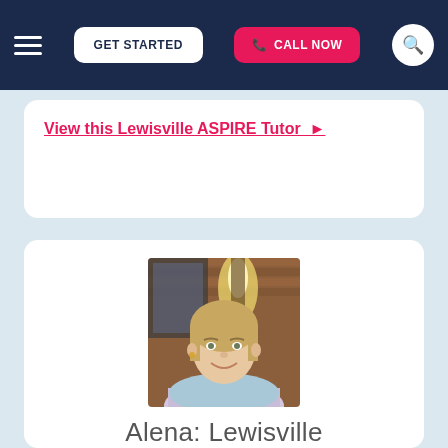GET STARTED | CALL NOW
View this Lewisville ASPIRE Tutor ▶
[Figure (photo): Portrait photo of a woman with blonde hair, smiling, wearing a floral shirt, standing in front of a brick wall with a lamp]
Alena: Lewisville